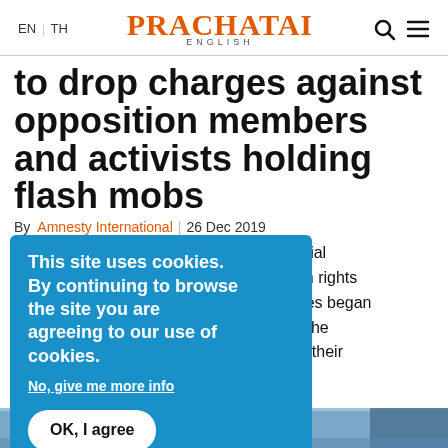EN | TH   PRACHATAI ENGLISH
to drop charges against opposition members and activists holding flash mobs
By Amnesty International | 26 Dec 2019
... an end to judicial h... oposition, human rights d... and, as authorities began n... nst members of the F... vists because of their re...
[Figure (screenshot): Cookie consent overlay popup with blue background reading: 'This site uses cookies. By continuing to browse the site you are agreeing to our use of cookies.' with links 'No, give me more info' and button 'OK, I agree']
[Figure (photo): Bottom strip of a photo showing partial view of figures, blue background]